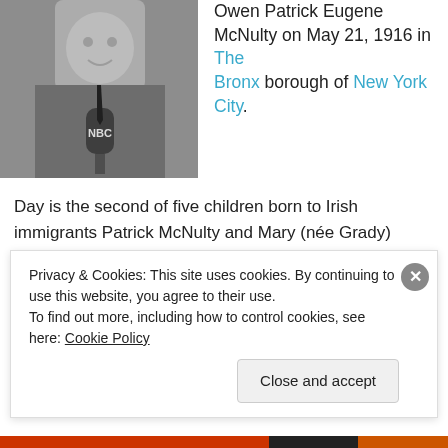[Figure (photo): Black and white photo of a smiling man in a houndstooth jacket speaking into an NBC microphone]
Owen Patrick Eugene McNulty on May 21, 1916 in The Bronx borough of New York City.
Day is the second of five children born to Irish immigrants Patrick McNulty and Mary (née Grady) McNulty. He graduates from Cathedral Preparatory School and Seminary in New York City, and attends Manhattan College in the Bronx, where he sings in the glee club.
Privacy & Cookies: This site uses cookies. By continuing to use this website, you agree to their use.
To find out more, including how to control cookies, see here: Cookie Policy